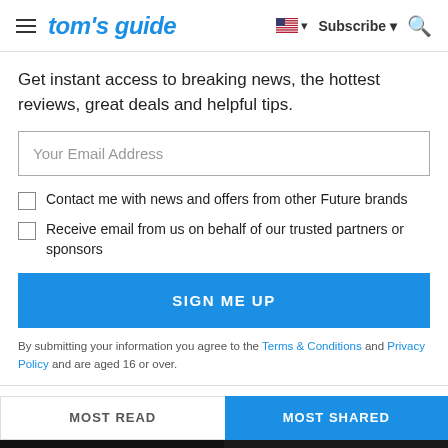tom's guide — Subscribe
Get instant access to breaking news, the hottest reviews, great deals and helpful tips.
Your Email Address
Contact me with news and offers from other Future brands
Receive email from us on behalf of our trusted partners or sponsors
SIGN ME UP
By submitting your information you agree to the Terms & Conditions and Privacy Policy and are aged 16 or over.
MOST READ
MOST SHARED